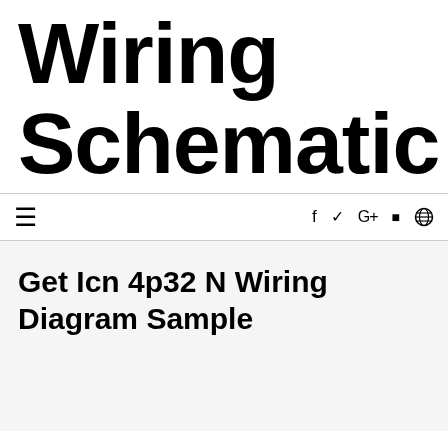Wiring Schematic
≡   f  ✓  G+  ▬  ⊗
Get Icn 4p32 N Wiring Diagram Sample